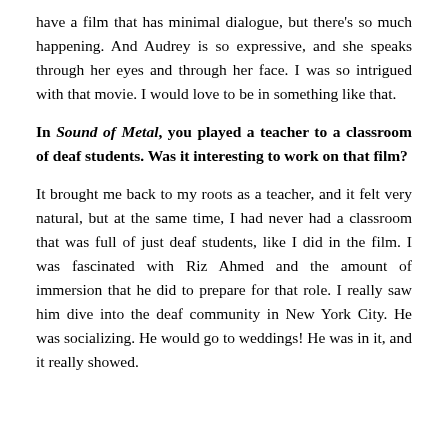have a film that has minimal dialogue, but there's so much happening. And Audrey is so expressive, and she speaks through her eyes and through her face. I was so intrigued with that movie. I would love to be in something like that.
In Sound of Metal, you played a teacher to a classroom of deaf students. Was it interesting to work on that film?
It brought me back to my roots as a teacher, and it felt very natural, but at the same time, I had never had a classroom that was full of just deaf students, like I did in the film. I was fascinated with Riz Ahmed and the amount of immersion that he did to prepare for that role. I really saw him dive into the deaf community in New York City. He was socializing. He would go to weddings! He was in it, and it really showed.